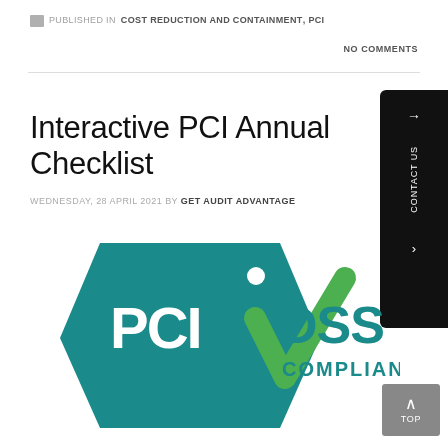PUBLISHED IN COST REDUCTION AND CONTAINMENT, PCI
NO COMMENTS
Interactive PCI Annual Checklist
WEDNESDAY, 28 APRIL 2021 BY GET AUDIT ADVANTAGE
[Figure (logo): PCI DSS Compliant logo — teal diamond shape with 'PCI' text, green checkmark, and 'DSS COMPLIANT' text in teal]